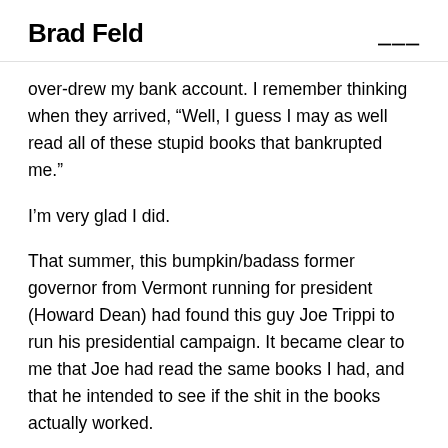Brad Feld
over-drew my bank account. I remember thinking when they arrived, “Well, I guess I may as well read all of these stupid books that bankrupted me.”
I’m very glad I did.
That summer, this bumpkin/badass former governor from Vermont running for president (Howard Dean) had found this guy Joe Trippi to run his presidential campaign. It became clear to me that Joe had read the same books I had, and that he intended to see if the shit in the books actually worked.